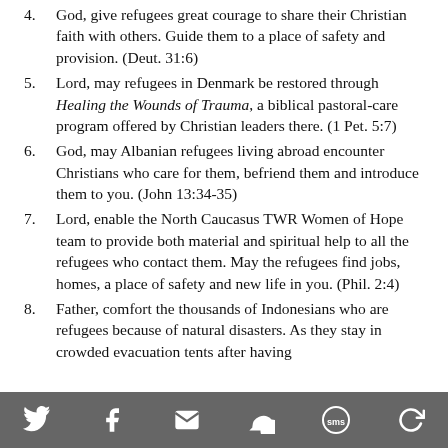God, give refugees great courage to share their Christian faith with others. Guide them to a place of safety and provision. (Deut. 31:6)
Lord, may refugees in Denmark be restored through Healing the Wounds of Trauma, a biblical pastoral-care program offered by Christian leaders there. (1 Pet. 5:7)
God, may Albanian refugees living abroad encounter Christians who care for them, befriend them and introduce them to you. (John 13:34-35)
Lord, enable the North Caucasus TWR Women of Hope team to provide both material and spiritual help to all the refugees who contact them. May the refugees find jobs, homes, a place of safety and new life in you. (Phil. 2:4)
Father, comfort the thousands of Indonesians who are refugees because of natural disasters. As they stay in crowded evacuation tents after having lost everything, including…
Social share icons: Twitter, Facebook, Email, WhatsApp, SMS, Other